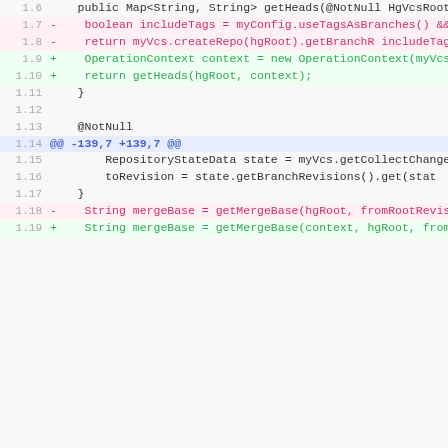[Figure (screenshot): Code diff snippet showing Java source changes including getHeads method modification, OperationContext usage, and mergeBase method signature update. Lines 1.6 through 1.19 shown with red (removed) and green (added) lines in a diff format on a light gray background.]